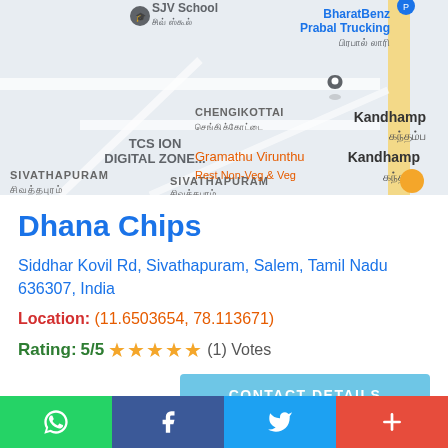[Figure (map): Google Maps screenshot showing Sivathapuram area in Salem, Tamil Nadu, India. Visible labels include SJV School, TCS ION DIGITAL ZONE, BharatBenz Prabal Trucking, Kandhamp, CHENGIKOTTAI, Gramathu Virunthu, road 421, and a map pin marker.]
Dhana Chips
Siddhar Kovil Rd, Sivathapuram, Salem, Tamil Nadu 636307, India
Location: (11.6503654, 78.113671)
Rating: 5/5 ★★★★★ (1) Votes
CONTACT DETAILS
WhatsApp | Facebook | Twitter | +